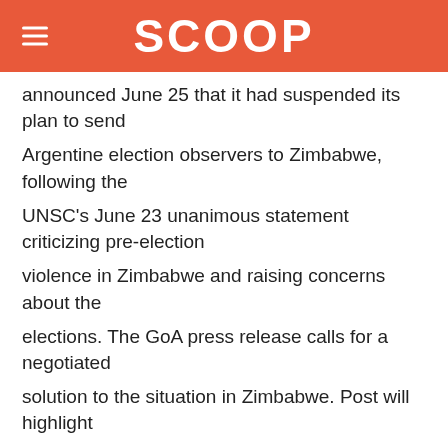SCOOP
announced June 25 that it had suspended its plan to send
Argentine election observers to Zimbabwe, following the
UNSC's June 23 unanimous statement criticizing pre-election
violence in Zimbabwe and raising concerns about the
elections. The GoA press release calls for a negotiated
solution to the situation in Zimbabwe. Post will highlight
the statement in follow-up discussions with GoA and Central
Bank officials on this topic.
4. (SBU) Post is conducting due diligence on Ciccone